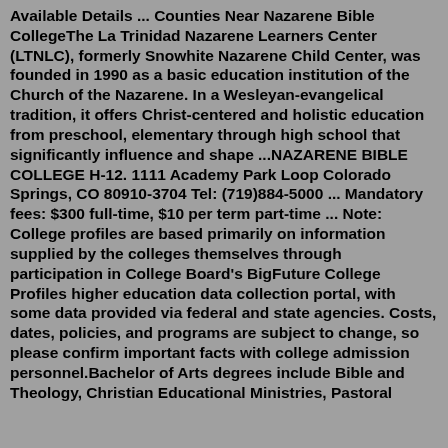Available Details ... Counties Near Nazarene Bible CollegeThe La Trinidad Nazarene Learners Center (LTNLC), formerly Snowhite Nazarene Child Center, was founded in 1990 as a basic education institution of the Church of the Nazarene. In a Wesleyan-evangelical tradition, it offers Christ-centered and holistic education from preschool, elementary through high school that significantly influence and shape ...NAZARENE BIBLE COLLEGE H-12. 1111 Academy Park Loop Colorado Springs, CO 80910-3704 Tel: (719)884-5000 ... Mandatory fees: $300 full-time, $10 per term part-time ... Note: College profiles are based primarily on information supplied by the colleges themselves through participation in College Board's BigFuture College Profiles higher education data collection portal, with some data provided via federal and state agencies. Costs, dates, policies, and programs are subject to change, so please confirm important facts with college admission personnel.Bachelor of Arts degrees include Bible and Theology, Christian Educational Ministries, Pastoral